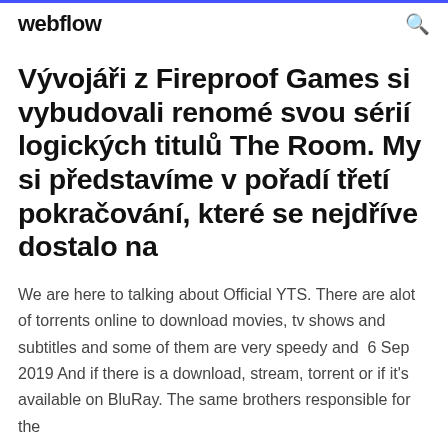webflow
Vývojáři z Fireproof Games si vybudovali renomé svou sérií logických titulů The Room. My si představíme v pořadí třetí pokračování, které se nejdříve dostalo na
We are here to talking about Official YTS. There are alot of torrents online to download movies, tv shows and subtitles and some of them are very speedy and  6 Sep 2019 And if there is a download, stream, torrent or if it's available on BluRay. The same brothers responsible for the